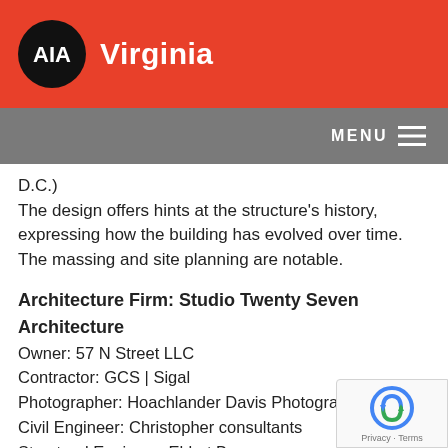AIA Virginia
D.C.)
The design offers hints at the structure's history, expressing how the building has evolved over time. The massing and site planning are notable.
Architecture Firm: Studio Twenty Seven Architecture
Owner: 57 N Street LLC
Contractor: GCS | Sigal
Photographer: Hoachlander Davis Photography
Civil Engineer: Christopher consultants
Structural Engineer: Ehlert Bryan
MEP Engineer: Meta Engineers